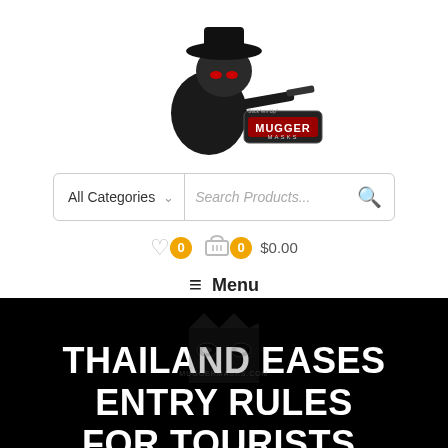[Figure (logo): Mugger Masks logo: a cartoon masked mugger figure in black with red 'MUGGER MASKS' text on a sign]
[Figure (screenshot): Search bar UI with 'All Categories' dropdown and 'Search Products...' placeholder with search icon]
[Figure (infographic): Icons row showing heart/wishlist with orange badge '0', shopping basket with orange badge '0', and price '$0.00']
≡ Menu
THAILAND EASES ENTRY RULES FOR TOURISTS, SCRAPS MASK